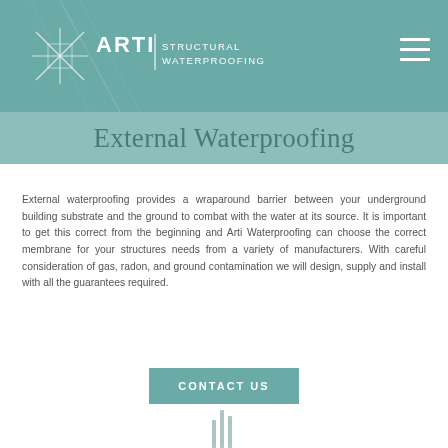[Figure (logo): ARTI Structural Waterproofing logo with geometric X/star symbol in white on teal background, with hamburger menu icon]
External Waterproofing
External waterproofing provides a wraparound barrier between your underground building substrate and the ground to combat with the water at its source. It is important to get this correct from the beginning and Arti Waterproofing can choose the correct membrane for your structures needs from a variety of manufacturers. With careful consideration of gas, radon, and ground contamination we will design, supply and install with all the guarantees required.
[Figure (other): CONTACT US button — teal rectangle with white uppercase text]
[Figure (illustration): Bottom decorative vertical lines / bar chart-like graphic in light gray at page bottom center]